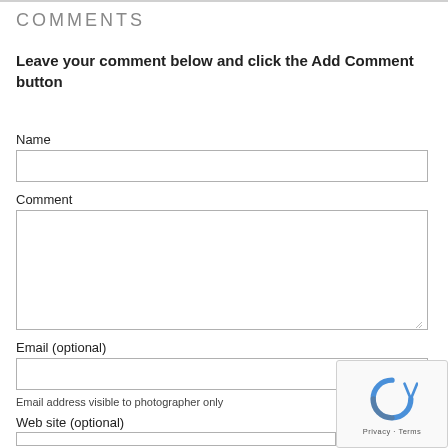Comments
Leave your comment below and click the Add Comment button
Name
Comment
Email (optional)
Email address visible to photographer only
Web site (optional)